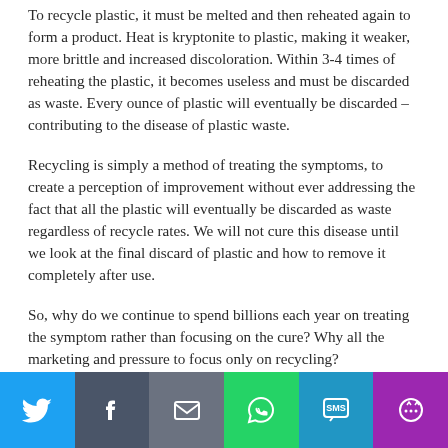To recycle plastic, it must be melted and then reheated again to form a product. Heat is kryptonite to plastic, making it weaker, more brittle and increased discoloration. Within 3-4 times of reheating the plastic, it becomes useless and must be discarded as waste. Every ounce of plastic will eventually be discarded – contributing to the disease of plastic waste.
Recycling is simply a method of treating the symptoms, to create a perception of improvement without ever addressing the fact that all the plastic will eventually be discarded as waste regardless of recycle rates. We will not cure this disease until we look at the final discard of plastic and how to remove it completely after use.
So, why do we continue to spend billions each year on treating the symptom rather than focusing on the cure? Why all the marketing and pressure to focus only on recycling?
[Figure (infographic): Social media sharing bar with buttons for Twitter, Facebook, Email, WhatsApp, SMS, and More (share options)]